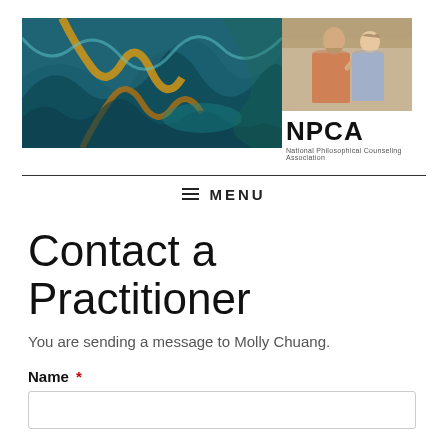[Figure (photo): Two-part website header: left panel shows an abstract fluid painting with swirling teal, blue, and gold patterns; right panel shows a classical painting detail (School of Athens style) with two robed figures, one bearded pointing upward.]
NPCA
National Philosophical Counseling Association
≡  MENU
Contact a Practitioner
You are sending a message to Molly Chuang.
Name *